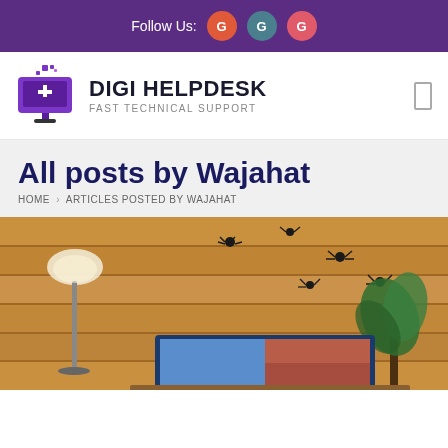Follow Us:
[Figure (logo): Digi Helpdesk logo with monitor icon and pixel art, text: DIGI HELPDESK / FAST TECHNICAL SUPPORT]
All posts by Wajahat
HOME › ARTICLES POSTED BY WAJAHAT
[Figure (photo): Photo of a wooden paneled room with decorative spiders on the wall, a floor lamp, a plant, and a TV screen with colorful display]